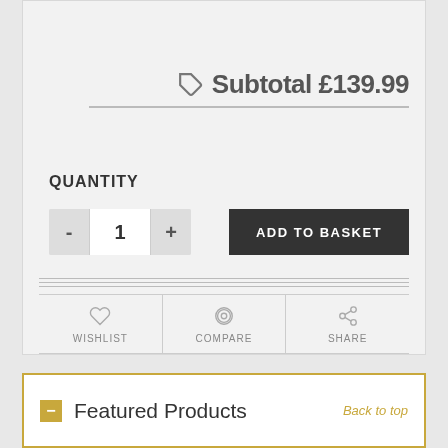Subtotal £139.99
QUANTITY
- 1 +
ADD TO BASKET
WISHLIST
COMPARE
SHARE
Featured Products
Back to top